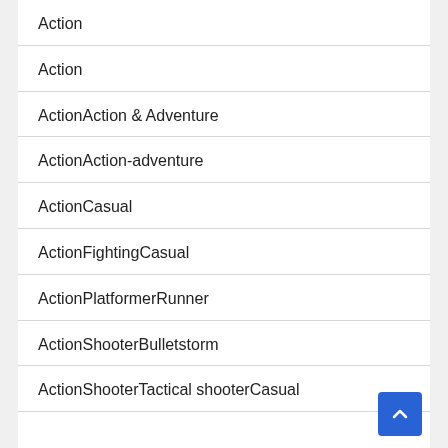Action
Action
ActionAction & Adventure
ActionAction-adventure
ActionCasual
ActionFightingCasual
ActionPlatformerRunner
ActionShooterBulletstorm
ActionShooterTactical shooterCasual